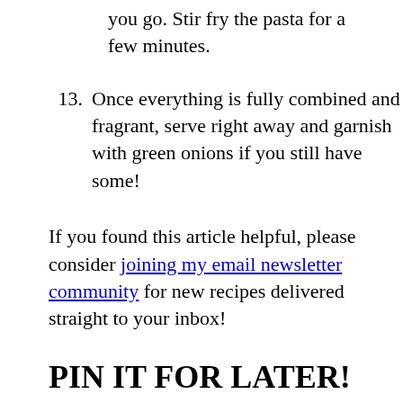you go. Stir fry the pasta for a few minutes.
13. Once everything is fully combined and fragrant, serve right away and garnish with green onions if you still have some!
If you found this article helpful, please consider joining my email newsletter community for new recipes delivered straight to your inbox!
PIN IT FOR LATER!